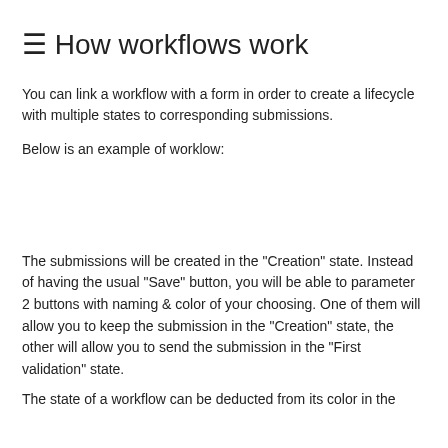☰ How workflows work
You can link a workflow with a form in order to create a lifecycle with multiple states to corresponding submissions.
Below is an example of worklow:
The submissions will be created in the "Creation" state. Instead of having the usual "Save" button, you will be able to parameter 2 buttons with naming & color of your choosing. One of them will allow you to keep the submission in the "Creation" state, the other will allow you to send the submission in the "First validation" state.
The state of a workflow can be deducted from its color in the